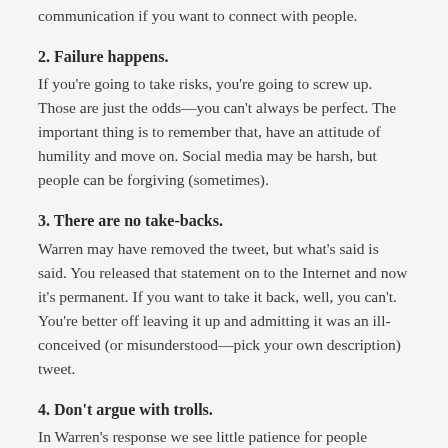communication if you want to connect with people.
2. Failure happens.
If you're going to take risks, you're going to screw up. Those are just the odds—you can't always be perfect. The important thing is to remember that, have an attitude of humility and move on. Social media may be harsh, but people can be forgiving (sometimes).
3. There are no take-backs.
Warren may have removed the tweet, but what's said is said. You released that statement on to the Internet and now it's permanent. If you want to take it back, well, you can't. You're better off leaving it up and admitting it was an ill-conceived (or misunderstood—pick your own description) tweet.
4. Don't argue with trolls.
In Warren's response we see little patience for people